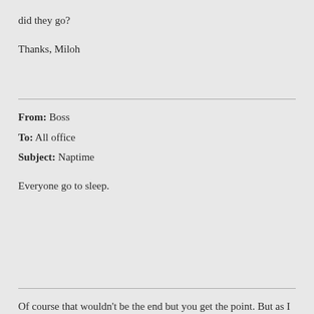did they go?
Thanks, Miloh
From: Boss
To: All office
Subject: Naptime
Everyone go to sleep.
Of course that wouldn't be the end but you get the point. But as I